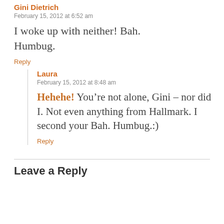Gini Dietrich
February 15, 2012 at 6:52 am
I woke up with neither! Bah. Humbug.
Reply
Laura
February 15, 2012 at 8:48 am
Hehehe! You’re not alone, Gini – nor did I. Not even anything from Hallmark. I second your Bah. Humbug.:)
Reply
Leave a Reply